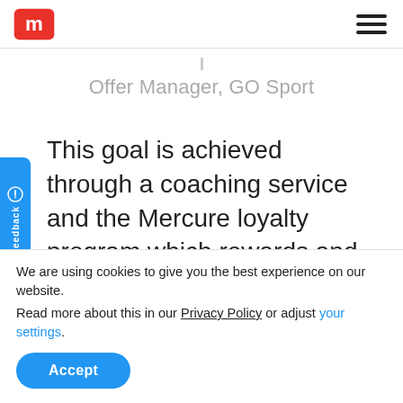Mercure logo and navigation hamburger menu
Offer Manager, GO Sport
This goal is achieved through a coaching service and the Mercure loyalty program which rewards and
We are using cookies to give you the best experience on our website.
Read more about this in our Privacy Policy or adjust your settings.
Accept